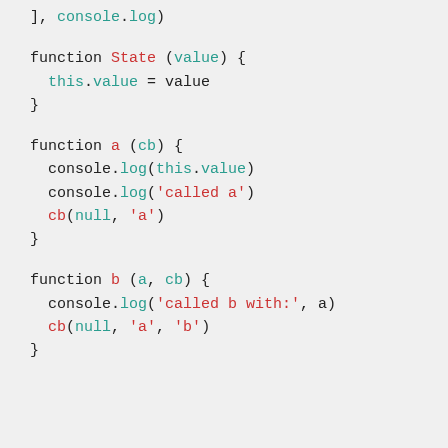], console.log)
function State (value) {
  this.value = value
}
function a (cb) {
  console.log(this.value)
  console.log('called a')
  cb(null, 'a')
}
function b (a, cb) {
  console.log('called b with:', a)
  cb(null, 'a', 'b')
}